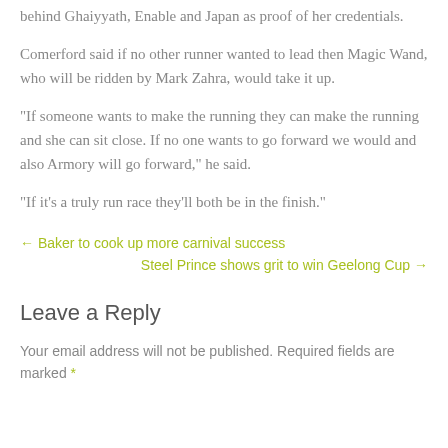behind Ghaiyyath, Enable and Japan as proof of her credentials.
Comerford said if no other runner wanted to lead then Magic Wand, who will be ridden by Mark Zahra, would take it up.
“If someone wants to make the running they can make the running and she can sit close. If no one wants to go forward we would and also Armory will go forward,” he said.
“If it’s a truly run race they’ll both be in the finish.”
← Baker to cook up more carnival success
Steel Prince shows grit to win Geelong Cup →
Leave a Reply
Your email address will not be published. Required fields are marked *